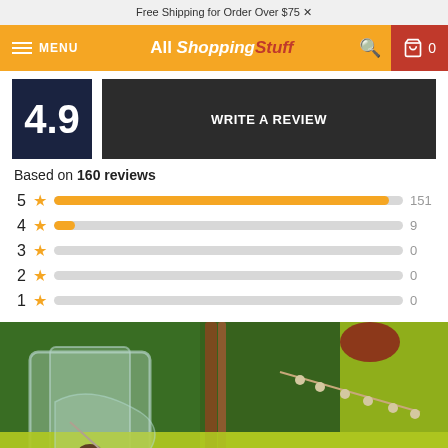Free Shipping for Order Over $75
[Figure (screenshot): Navigation bar with menu icon, All Shopping Stuff logo, search icon, and cart showing 0]
4.9
WRITE A REVIEW
Based on 160 reviews
[Figure (bar-chart): Star rating distribution]
[Figure (photo): Photo of a glass vase with decorative items including twigs, cinnamon sticks, and a berry branch on a yellow-green surface]